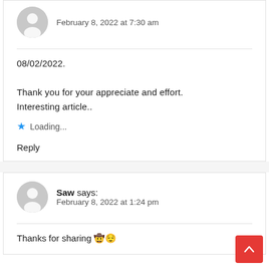February 8, 2022 at 7:30 am
08/02/2022.
Thank you for your appreciate and effort. Interesting article..
Loading...
Reply
Saw says: February 8, 2022 at 1:24 pm
Thanks for sharing 🤠😌